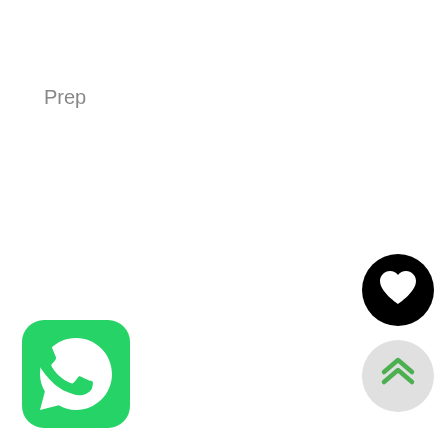Prep
[Figure (logo): WhatsApp app icon — rounded green square with white speech bubble phone handset logo]
[Figure (other): Black circle with white heart icon (favorite/like button)]
[Figure (other): Light grey circle with green double up-chevron icon (scroll to top button)]